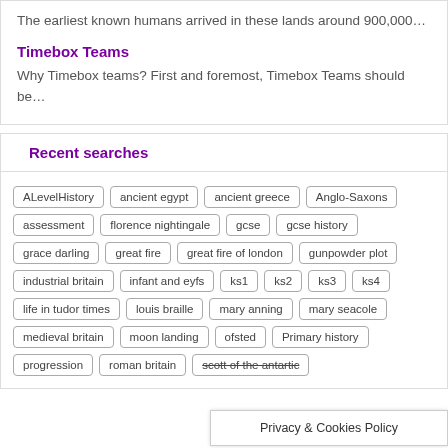The earliest known humans arrived in these lands around 900,000…
Timebox Teams
Why Timebox teams? First and foremost, Timebox Teams should be…
Recent searches
ALevelHistory
ancient egypt
ancient greece
Anglo-Saxons
assessment
florence nightingale
gcse
gcse history
grace darling
great fire
great fire of london
gunpowder plot
industrial britain
infant and eyfs
ks1
ks2
ks3
ks4
life in tudor times
louis braille
mary anning
mary seacole
medieval britain
moon landing
ofsted
Primary history
progression
roman britain
scott of the antartic
Privacy & Cookies Policy